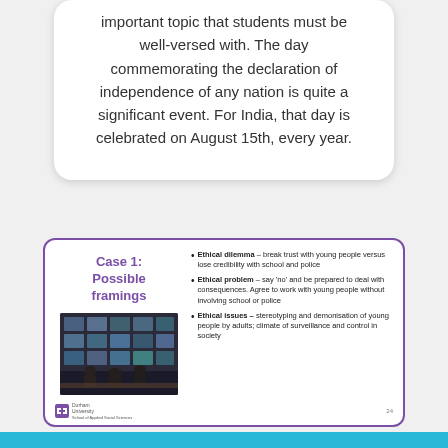important topic that students must be well-versed with. The day commemorating the declaration of independence of any nation is quite a significant event. For India, that day is celebrated on August 15th, every year.
[Figure (screenshot): A presentation slide titled 'Case 1: Possible framings' with a purple border. Left column shows the title in purple bold text and a photo of a surveillance room with multiple screens. Right column lists three bullet points: Ethical dilemma – break trust with young people versus lose credibility with school and police; Ethical problem – say 'no' and be prepared to deal with consequences. Agree to work with young people without involving school or police; Ethical issues – stereotyping and demonisation of young people by adults; climate of surveillance and control in society. Durham University logo at bottom left and page number 24 at bottom right.]